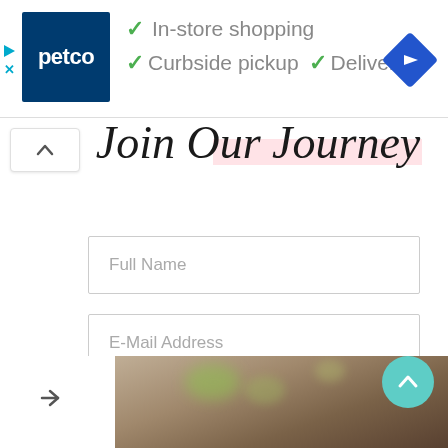[Figure (screenshot): Petco advertisement banner with logo and service checkmarks: In-store shopping, Curbside pickup, Delivery]
Join Our Journey
Full Name
E-Mail Address
YES!
[Figure (photo): Blurred nature/outdoor background image at bottom of page]